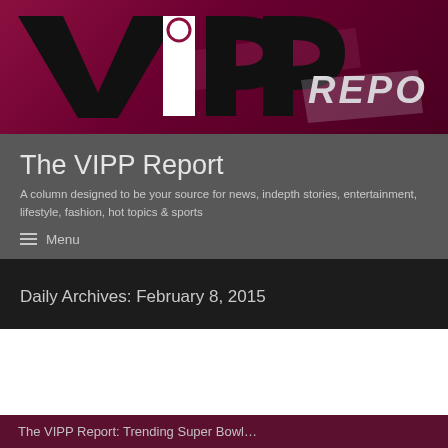[Figure (logo): VIPP REPORT logo on dark magenta/burgundy background banner with stylized letters V, I, P, P and the word REPORT]
The VIPP Report
A column designed to be your source for news, indepth stories, entertainment, lifestyle, fashion, hot topics & sports
≡ Menu
Daily Archives: February 8, 2015
The VIPP Report: Trending Super Bowl…